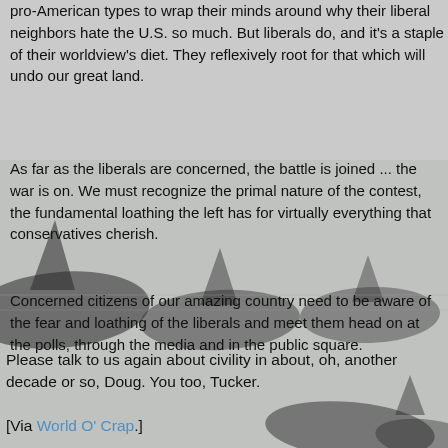[Figure (photo): Background photo of killer whales (orcas) swimming, with dorsal fins visible above water. Image appears in background behind text, muted/light gray tones.]
pro-American types to wrap their minds around why their liberal neighbors hate the U.S. so much. But liberals do, and it's a staple of their worldview's diet. They reflexively root for that which will undo our great land.
As far as the liberals are concerned, the battle is joined ... the war is on. We must recognize the primal nature of the contest, the fundamental loathing the left has for virtually everything that conservatives cherish.
Concerned citizens of our amazing country need to be aware of the fear and loathing of the liberals and meet them head on at the polls, through the media and in the public square.
Please talk to us again about civility in about, oh, another decade or so, Doug. You too, Tucker.
[Via World O' Crap.]